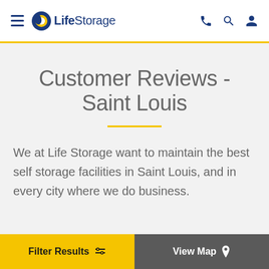Life Storage — Navigation header with logo, hamburger menu, phone, search, and user icons
Customer Reviews - Saint Louis
We at Life Storage want to maintain the best self storage facilities in Saint Louis, and in every city where we do business.
Filter Results | View Map